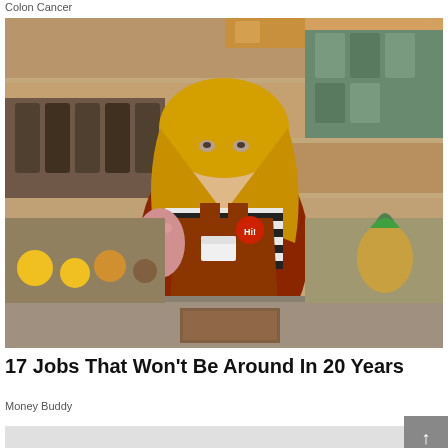Colon Cancer
[Figure (photo): A young blonde woman wearing an orange/rust-colored apron over a black and white striped shirt, standing in a grocery store setting with shelves of products visible in the background. She appears to be a store employee behind a counter.]
17 Jobs That Won't Be Around In 20 Years
Money Buddy